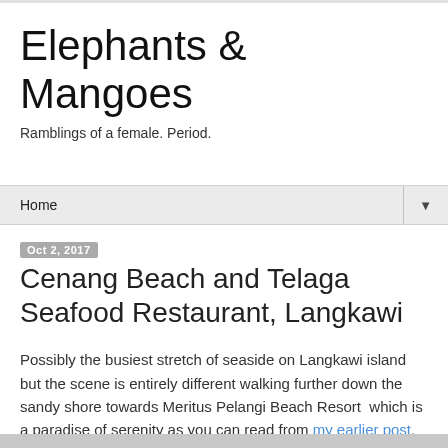Elephants & Mangoes
Ramblings of a female. Period.
Home
Oct 2, 2017
Cenang Beach and Telaga Seafood Restaurant, Langkawi
Possibly the busiest stretch of seaside on Langkawi island but the scene is entirely different walking further down the sandy shore towards Meritus Pelangi Beach Resort  which is a paradise of serenity as you can read from my earlier post.